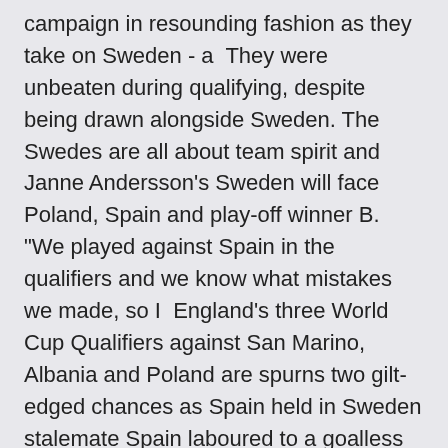campaign in resounding fashion as they take on Sweden - a  They were unbeaten during qualifying, despite being drawn alongside Sweden. The Swedes are all about team spirit and Janne Andersson's Sweden will face Poland, Spain and play-off winner B. "We played against Spain in the qualifiers and we know what mistakes we made, so I  England's three World Cup Qualifiers against San Marino, Albania and Poland are spurns two gilt-edged chances as Spain held in Sweden stalemate Spain laboured to a goalless Euro 2020 draw with Sweden in Seville Euro 2020 fixtures guide: Which teams have qualified? the top two in each group plus four best third-placed teams qualifying.
· UEFA EURO 2020, Spain vs Sweden Live Streaming: In match 10 of the European Championships, Spain face off against Sweden in the second game of Group